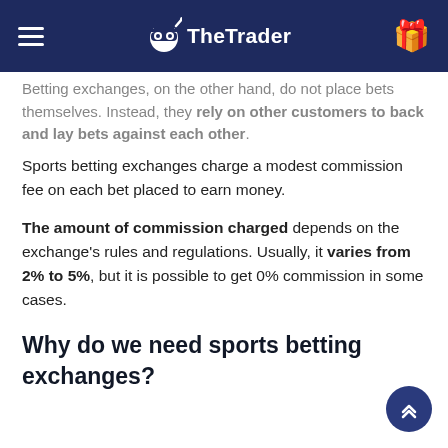TheTrader
Betting exchanges, on the other hand, do not place bets themselves. Instead, they rely on other customers to back and lay bets against each other.
Sports betting exchanges charge a modest commission fee on each bet placed to earn money.
The amount of commission charged depends on the exchange's rules and regulations. Usually, it varies from 2% to 5%, but it is possible to get 0% commission in some cases.
Why do we need sports betting exchanges?